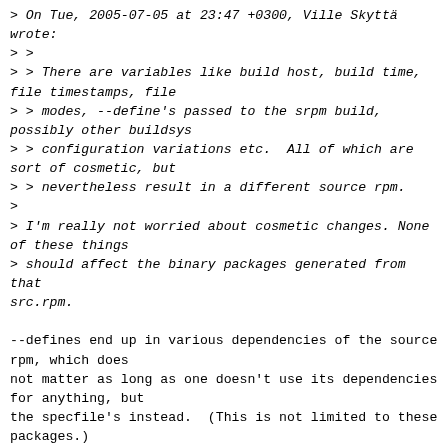> On Tue, 2005-07-05 at 23:47 +0300, Ville Skyttä wrote:
> >
> > There are variables like build host, build time, file timestamps, file
> > modes, --define's passed to the srpm build, possibly other buildsys
> > configuration variations etc.  All of which are sort of cosmetic, but
> > nevertheless result in a different source rpm.
>
> I'm really not worried about cosmetic changes. None of these things
> should affect the binary packages generated from that src.rpm.

--defines end up in various dependencies of the source rpm, which does
not matter as long as one doesn't use its dependencies for anything, but
the specfile's instead.  (This is not limited to these packages.)

The original question remains though; what to do with the srpms?
Discard or overwrite the ones already in the repo?  My +1 to the former,
or more generally: never overwrite any package in the repository.